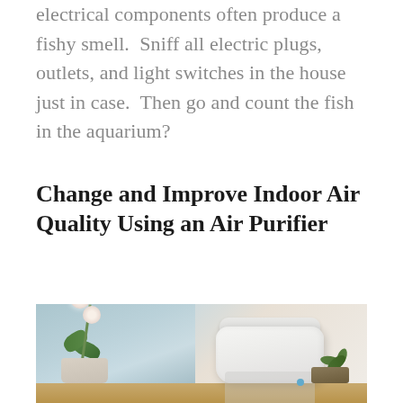electrical components often produce a fishy smell.  Sniff all electric plugs, outlets, and light switches in the house just in case.  Then go and count the fish in the aquarium?
Change and Improve Indoor Air Quality Using an Air Purifier
[Figure (photo): Photo of a white air purifier sitting on a wooden shelf next to a potted white orchid plant against a light blue wooden panel background, with a small green plant in the right foreground.]